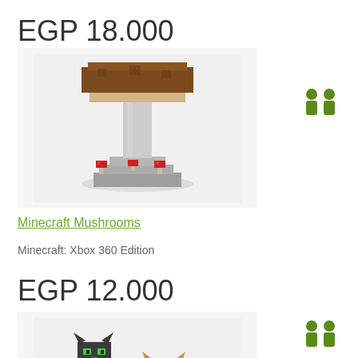EGP 18.000
[Figure (illustration): Minecraft Mushrooms – a tall brown mushroom on a stone platform with small red mushrooms around base, blocky 3D Minecraft art style]
[Figure (illustration): Two green person/player icons indicating multiplayer or shared listing]
Minecraft Mushrooms
Minecraft: Xbox 360 Edition
EGP 12.000
[Figure (illustration): Minecraft cats/ocelots – blocky 3D figures of two cats, one dark with green eyes and one gold/yellow, in Minecraft pixel art style]
[Figure (illustration): Two green person/player icons indicating multiplayer or shared listing]